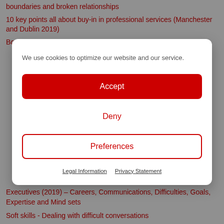boundaries and broken relationships
10 key points all about buy-in in professional services (Manchester and Dublin 2019)
Book review: Better Business Relationships by...
We use cookies to optimize our website and our service.
Accept
Deny
Preferences
Legal Information
Privacy Statement
Executives (2019) – Careers, Communications, Difficulties, Goals, Expertise and Mind sets
Soft skills - Dealing with difficult conversations